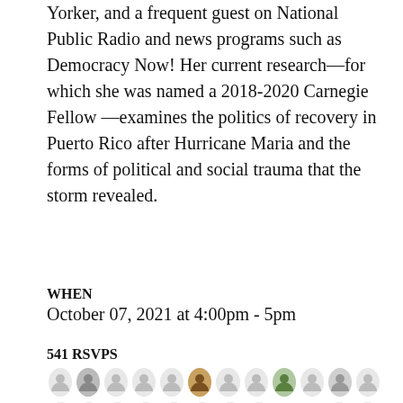Yorker, and a frequent guest on National Public Radio and news programs such as Democracy Now! Her current research—for which she was named a 2018-2020 Carnegie Fellow —examines the politics of recovery in Puerto Rico after Hurricane Maria and the forms of political and social trauma that the storm revealed.
WHEN
October 07, 2021 at 4:00pm - 5pm
541 RSVPS